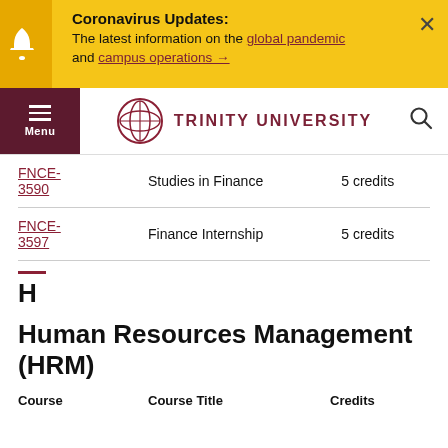[Figure (screenshot): Coronavirus Updates alert banner with bell icon, text about global pandemic and campus operations links, and close button]
[Figure (screenshot): Trinity University navigation bar with hamburger menu, logo, university name, and search icon]
| Course | Course Title | Credits |
| --- | --- | --- |
| FNCE-3590 | Studies in Finance | 5 credits |
| FNCE-3597 | Finance Internship | 5 credits |
H
Human Resources Management (HRM)
| Course | Course Title | Credits |
| --- | --- | --- |